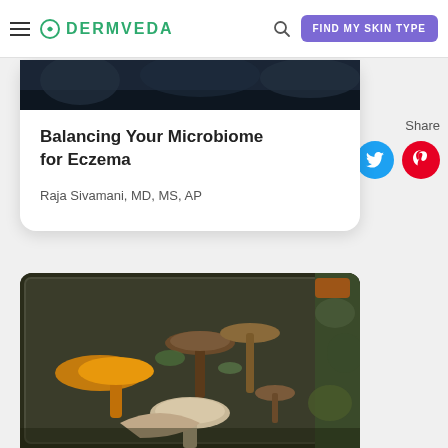DERMVEDA — FIND MY SKIN TYPE
Balancing Your Microbiome for Eczema
Raja Sivamani, MD, MS, AP
Share
[Figure (photo): A container/box filled with various types of mushrooms of different shapes and colors, placed on a mossy surface]